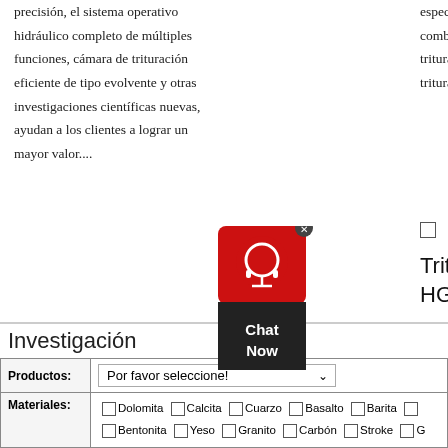precisión, el sistema operativo hidráulico completo de múltiples funciones, cámara de trituración eficiente de tipo evolvente y otras investigaciones científicas nuevas, ayudan a los clientes a lograr un mayor valor....
específicamente pa... combinar la tritura... trituradora de impa... trituradora de mart...
[Figure (other): Chat Now widget with red headset icon and dark chat box]
Trituradora G HGT
HGT Hyd... crusher integrated electrical, automat... together. And the a... greatest feature, m... convenient....
Investigación
| Productos: | Por favor seleccione! |
| --- | --- |
| Materiales: | ☐ Dolomita ☐ Calcita ☐ Cuarzo ☐ Basalto ☐ Barita ☐ ... |
|  | ☐ Bentonita ☐ Yeso ☐ Granito ☐ Carbón ☐ Stroke ☐ G... |